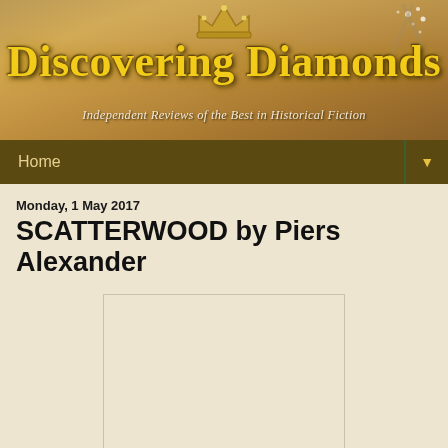[Figure (illustration): Discovering Diamonds website banner with decorative crown and diamond imagery on a golden-brown book background. Large stylized yellow text reads 'Discovering Diamonds' with subtitle 'Independent Reviews of the Best in Historical Fiction']
Home ▼
Monday, 1 May 2017
SCATTERWOOD by Piers Alexander
[Figure (illustration): Book cover image placeholder area (blank/loading)]